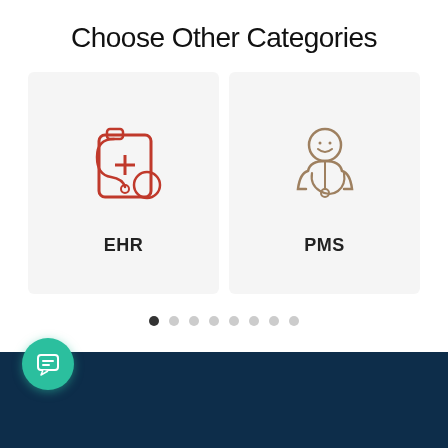Choose Other Categories
[Figure (illustration): EHR card with red medical clipboard and stethoscope icon, labeled EHR]
[Figure (illustration): PMS card with brown doctor/person icon wearing stethoscope, labeled PMS]
[Figure (other): Pagination dots row: 8 dots, first dot is filled/dark (active), rest are light gray]
[Figure (other): Dark navy footer bar at the bottom of the page with a teal circular chat button on the left side]